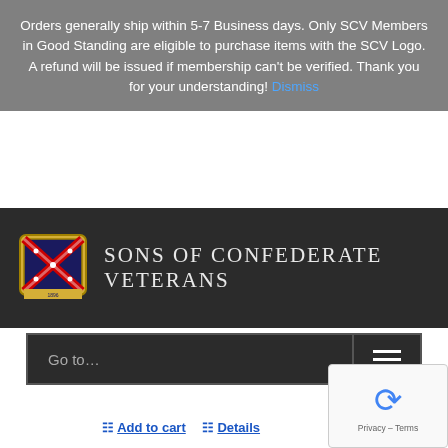Orders generally ship within 5-7 Business days. Only SCV Members in Good Standing are eligible to purchase items with the SCV Logo. A refund will be issued if membership can't be verified. Thank you for your understanding! Dismiss
[Figure (logo): Sons of Confederate Veterans logo with Confederate battle flag emblem inside a shield, and organization name text]
Go to...
antidote. This delightful book – funny and inviting, but factual, shatters the myths about American history and separates fact from fiction. The P. I. G. of American History will give you all the information you need to battle and confront left-wing professors, neighbors and friends.
Add to cart   Details